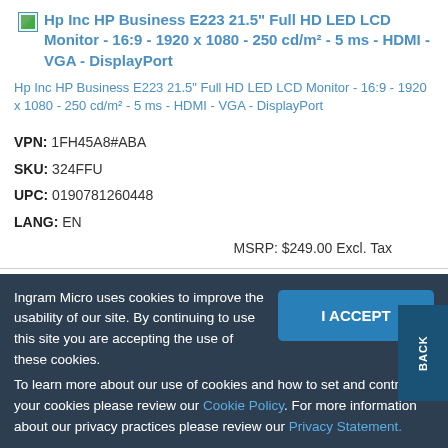Hp Inc HP Business E223 21.5" Full HD LED LCD Monitor - 16:9 - 1920 x 1080 - 250 cd/m² - 5 ms - HDMI - VGA - DisplayPort
Hp Inc HP Business E223 21.5" Full HD LED LCD Monitor - 16:9 - 1920 x 1080 - 250 cd/m² - 5 ms - HDMI - VGA - DisplayPort
VPN: 1FH45A8#ABA
SKU: 324FFU
UPC: 0190781260448
LANG: EN
MSRP: $249.00 Excl. Tax
Ingram Micro uses cookies to improve the usability of our site. By continuing to use this site you are accepting the use of these cookies. To learn more about our use of cookies and how to set and control your cookies please review our Cookie Policy. For more information about our privacy practices please review our Privacy Statement.